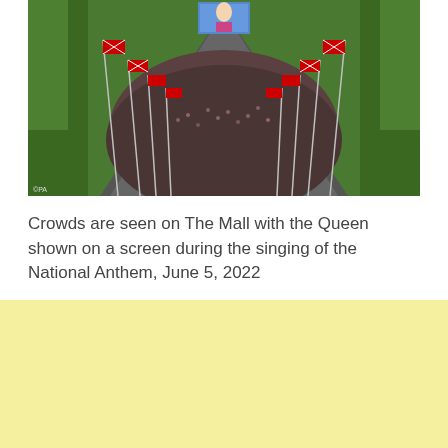[Figure (photo): Aerial view of crowds on The Mall with Union Jack flags lining the route and a large screen visible in the background, surrounded by green trees. © PA credit visible bottom left.]
Crowds are seen on The Mall with the Queen shown on a screen during the singing of the National Anthem, June 5, 2022
[Figure (other): Yellow/cream advertisement or placeholder banner area]